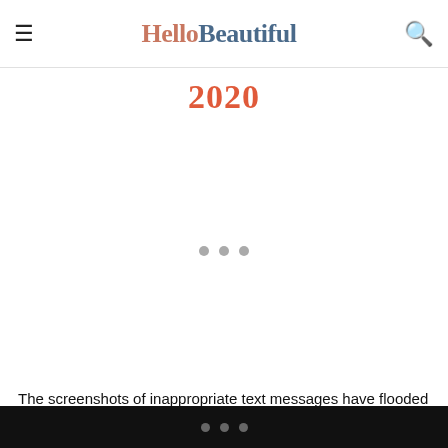HelloBeautiful
2020
[Figure (photo): Large image area with loading indicator (three gray dots), image not loaded]
The screenshots of inappropriate text messages have flooded the net and sting lingers. Lou's name is in autocomplete on Twitter. And